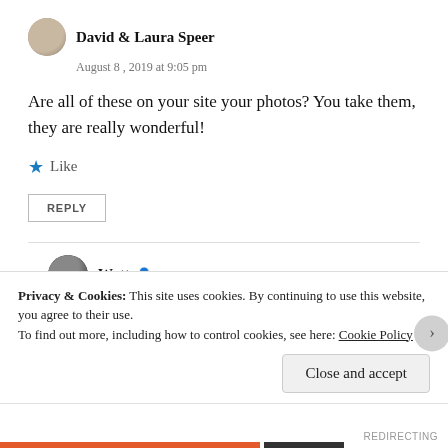David & Laura Speer
August 8, 2019 at 9:05 pm
Are all of these on your site your photos? You take them, they are really wonderful!
Like
REPLY
Watt
August 8, 2019 at 11:16 pm
Privacy & Cookies: This site uses cookies. By continuing to use this website, you agree to their use. To find out more, including how to control cookies, see here: Cookie Policy
Close and accept